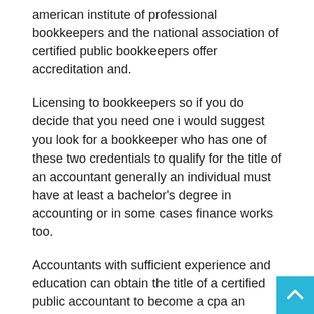american institute of professional bookkeepers and the national association of certified public bookkeepers offer accreditation and.
Licensing to bookkeepers so if you do decide that you need one i would suggest you look for a bookkeeper who has one of these two credentials to qualify for the title of an accountant generally an individual must have at least a bachelor's degree in accounting or in some cases finance works too.
Accountants with sufficient experience and education can obtain the title of a certified public accountant to become a cpa an accountant must pass the uniform certified public accountancy exam and possess experience as a professional accountant to help you visualize everything we just covered here's a quick summary.